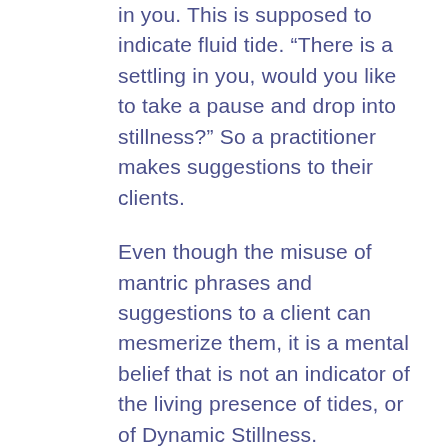in you. This is supposed to indicate fluid tide. “There is a settling in you, would you like to take a pause and drop into stillness?” So a practitioner makes suggestions to their clients.
Even though the misuse of mantric phrases and suggestions to a client can mesmerize them, it is a mental belief that is not an indicator of the living presence of tides, or of Dynamic Stillness. Characterizing an actual body-felt tidal realization of the tides is more complex